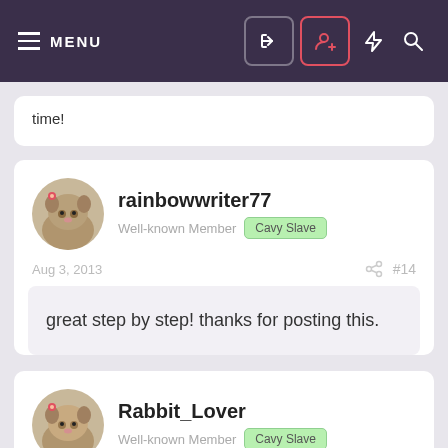MENU
time!
rainbowwriter77 Well-known Member Cavy Slave
Aug 3, 2013 #14
great step by step! thanks for posting this.
Rabbit_Lover Well-known Member Cavy Slave